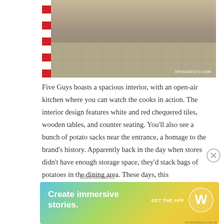[Figure (photo): Interior photo of Five Guys restaurant showing tiled floor with wooden tables and chairs, with ERISGOESTO.COM watermark in lower right]
Five Guys boasts a spacious interior, with an open-air kitchen where you can watch the cooks in action. The interior design features white and red chequered tiles, wooden tables, and counter seating. You'll also see a bunch of potato sacks near the entrance, a homage to the brand's history. Apparently back in the day when stores didn't have enough storage space, they'd stack bags of potatoes in the dining area. These days, this
Advertisements
[Figure (other): WordPress advertisement banner with gradient background showing 'Create immersive stories.' text, 'GET THE APP' call to action, and WordPress logo]